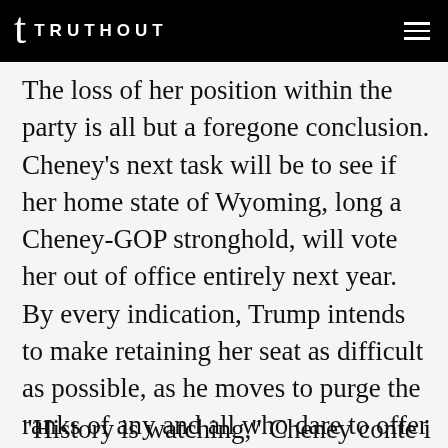TRUTHOUT
The loss of her position within the party is all but a foregone conclusion. Cheney's next task will be to see if her home state of Wyoming, long a Cheney-GOP stronghold, will vote her out of office entirely next year. By every indication, Trump intends to make retaining her seat as difficult as possible, as he moves to purge the ranks of any and all who dare to offer less than seamless fealty to the scattered, violent nihilism that is now his brand.
“History is watching,” Cheney conte is cont